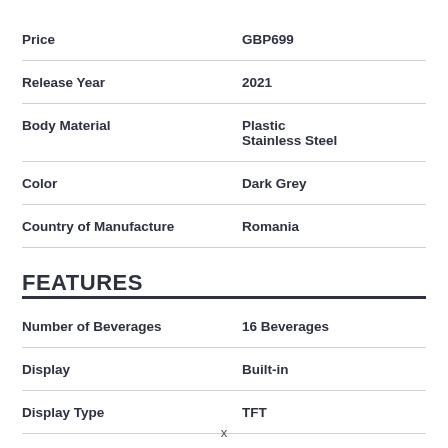| Attribute | Value |
| --- | --- |
| Price | GBP699 |
| Release Year | 2021 |
| Body Material | Plastic
Stainless Steel |
| Color | Dark Grey |
| Country of Manufacture | Romania |
FEATURES
| Attribute | Value |
| --- | --- |
| Number of Beverages | 16 Beverages |
| Display | Built-in |
| Display Type | TFT |
x